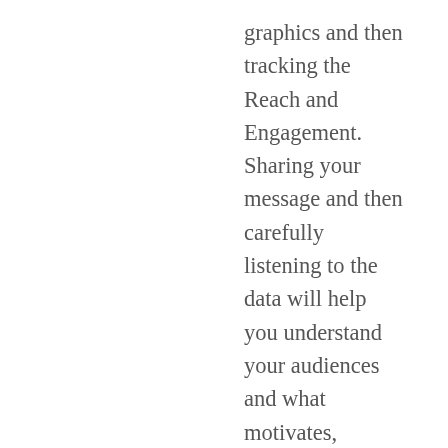graphics and then tracking the Reach and Engagement. Sharing your message and then carefully listening to the data will help you understand your audiences and what motivates, inspires, and excites them. If you want to gain more data more quickly, consider running social media ads with different graphics to your followers or fans and see which ones generate